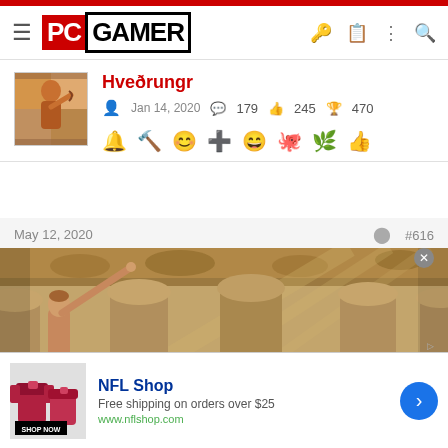PC GAMER
Hveðrungr
Jan 14, 2020  179  245  470
May 12, 2020  #616
[Figure (screenshot): Game screenshot showing a figure reaching up toward ornate classical columns with decorative ceiling, warm golden-brown tones]
NFL Shop
Free shipping on orders over $25
www.nflshop.com
SHOP NOW